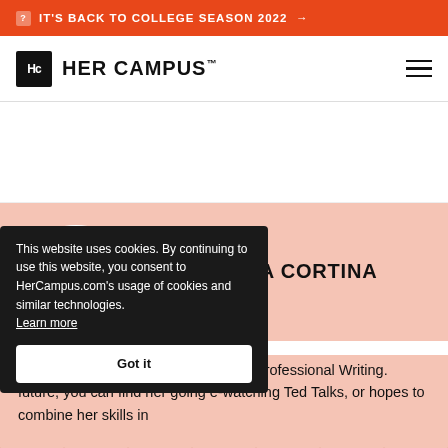IT'S BACK TO COLLEGE SEASON 2022 →
[Figure (logo): Her Campus logo with Hc icon and wordmark]
MACARENA CORTINA
UCD '21
pursuing a Bachelor of Science nor in Professional Writing. future, you can find her going e-watching Ted Talks, or hopes to combine her skills in
This website uses cookies. By continuing to use this website, you consent to HerCampus.com's usage of cookies and similar technologies. Learn more
Got it